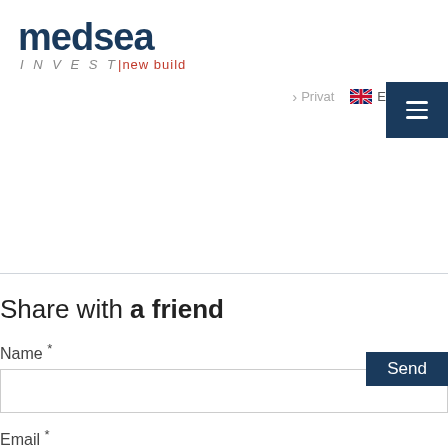[Figure (logo): Medsea INVEST new build logo — 'medsea' in dark navy bold large text, below 'INVEST' in grey italic spaced letters and 'new build' in red/dark letters]
> Privat   🇬🇧 English ∨
[Figure (other): Dark navy hamburger menu button with three horizontal white lines]
Send
Share with a friend
Name *
Email *
Send